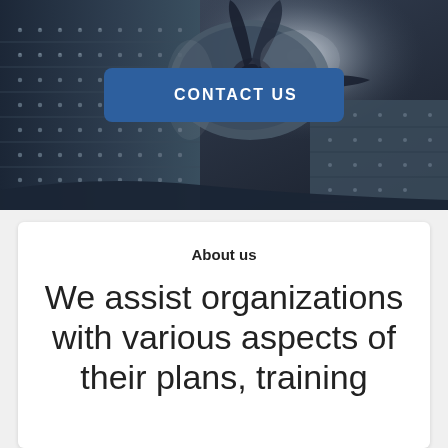[Figure (photo): Aerial/close-up photograph of a vintage military propeller aircraft, showing the nose, propeller, and riveted fuselage against a sky background with dramatic lighting.]
CONTACT US
About us
We assist organizations with various aspects of their plans, training